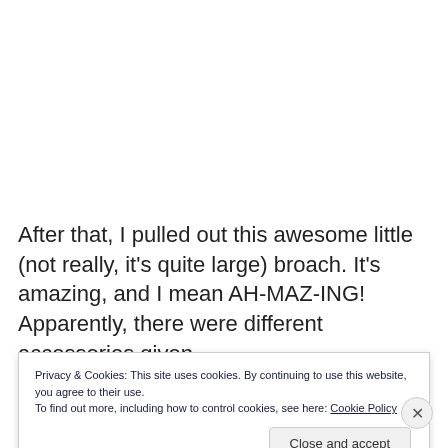After that, I pulled out this awesome little (not really, it's quite large) broach. It's amazing, and I mean AH-MAZ-ING! Apparently, there were different accessories given
Privacy & Cookies: This site uses cookies. By continuing to use this website, you agree to their use.
To find out more, including how to control cookies, see here: Cookie Policy
Close and accept